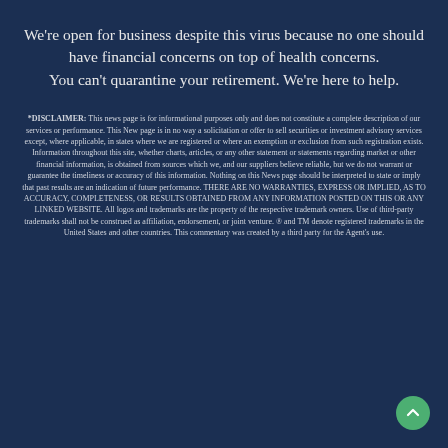We're open for business despite this virus because no one should have financial concerns on top of health concerns. You can't quarantine your retirement. We're here to help.
*DISCLAIMER: This news page is for informational purposes only and does not constitute a complete description of our services or performance. This New page is in no way a solicitation or offer to sell securities or investment advisory services except, where applicable, in states where we are registered or where an exemption or exclusion from such registration exists. Information throughout this site, whether charts, articles, or any other statement or statements regarding market or other financial information, is obtained from sources which we, and our suppliers believe reliable, but we do not warrant or guarantee the timeliness or accuracy of this information. Nothing on this News page should be interpreted to state or imply that past results are an indication of future performance. THERE ARE NO WARRANTIES, EXPRESS OR IMPLIED, AS TO ACCURACY, COMPLETENESS, OR RESULTS OBTAINED FROM ANY INFORMATION POSTED ON THIS OR ANY LINKED WEBSITE. All logos and trademarks are the property of the respective trademark owners. Use of third-party trademarks shall not be construed as affiliation, endorsement, or joint venture. ® and TM denote registered trademarks in the United States and other countries. This commentary was created by a third party for the Agent's use.